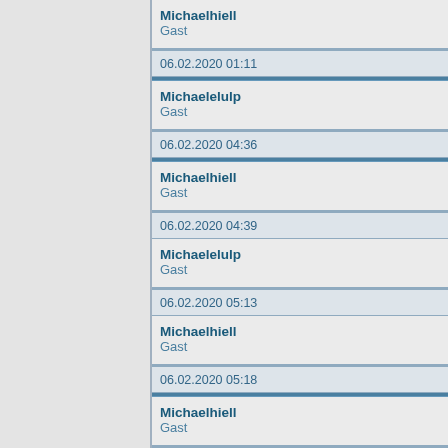Michaelhiell
Gast
06.02.2020 01:11
Michaelelulp
Gast
06.02.2020 04:36
Michaelhiell
Gast
06.02.2020 04:39
Michaelelulp
Gast
06.02.2020 05:13
Michaelhiell
Gast
06.02.2020 05:18
Michaelhiell
Gast
06.02.2020 06:36
Michaelelulp
Gast